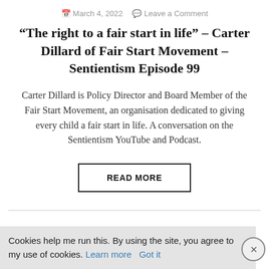March 4, 2022   Leave a Comment
“The right to a fair start in life” – Carter Dillard of Fair Start Movement – Sentientism Episode 99
Carter Dillard is Policy Director and Board Member of the Fair Start Movement, an organisation dedicated to giving every child a fair start in life. A conversation on the Sentientism YouTube and Podcast.
READ MORE
Cookies help me run this. By using the site, you agree to my use of cookies. Learn more   Got it